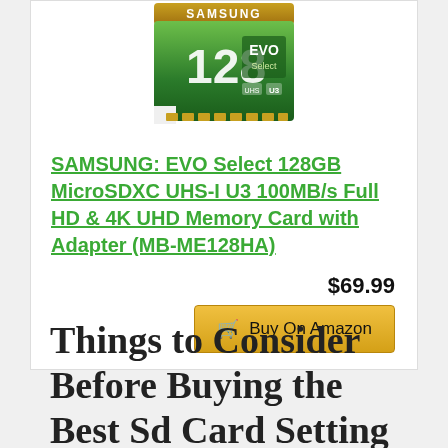[Figure (photo): Samsung EVO Select 128GB microSDXC memory card product image showing green and dark green card with gold accent and Samsung branding]
SAMSUNG: EVO Select 128GB MicroSDXC UHS-I U3 100MB/s Full HD & 4K UHD Memory Card with Adapter (MB-ME128HA)
$69.99
Buy On Amazon
Things to Consider Before Buying the Best Sd Card Setting